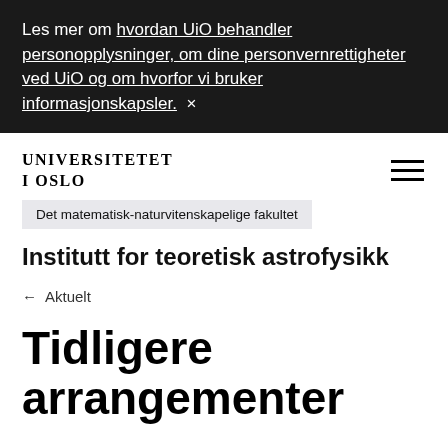Les mer om hvordan UiO behandler personopplysninger, om dine personvernrettigheter ved UiO og om hvorfor vi bruker informasjonskapsler.  ×
[Figure (logo): Universitetet i Oslo logo text in serif bold uppercase]
Det matematisk-naturvitenskapelige fakultet
Institutt for teoretisk astrofysikk
← Aktuelt
Tidligere arrangementer